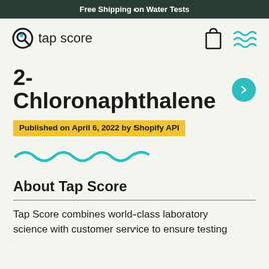Free Shipping on Water Tests
[Figure (logo): Tap Score logo with circular icon and wordmark 'tap score']
2-Chloronaphthalene
Published on April 6, 2022 by Shopify API
[Figure (illustration): Teal wavy line divider]
About Tap Score
Tap Score combines world-class laboratory science with customer service to ensure testing